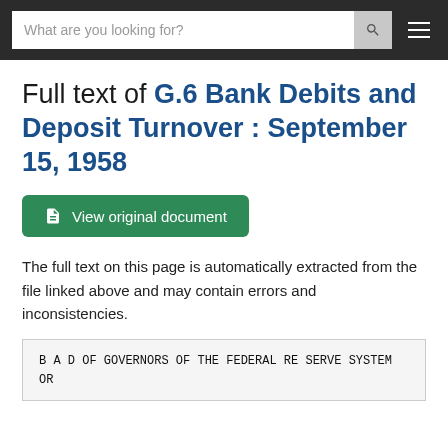What are you looking for?
Full text of G.6 Bank Debits and Deposit Turnover : September 15, 1958
View original document
The full text on this page is automatically extracted from the file linked above and may contain errors and inconsistencies.
B A D OF GOVERNORS OF THE FEDERAL RE SERVE SYSTEM OR